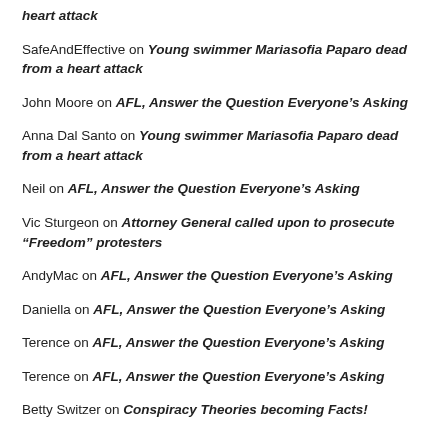heart attack
SafeAndEffective on Young swimmer Mariasofia Paparo dead from a heart attack
John Moore on AFL, Answer the Question Everyone's Asking
Anna Dal Santo on Young swimmer Mariasofia Paparo dead from a heart attack
Neil on AFL, Answer the Question Everyone's Asking
Vic Sturgeon on Attorney General called upon to prosecute “Freedom” protesters
AndyMac on AFL, Answer the Question Everyone's Asking
Daniella on AFL, Answer the Question Everyone's Asking
Terence on AFL, Answer the Question Everyone's Asking
Terence on AFL, Answer the Question Everyone's Asking
Betty Switzer on Conspiracy Theories becoming Facts!